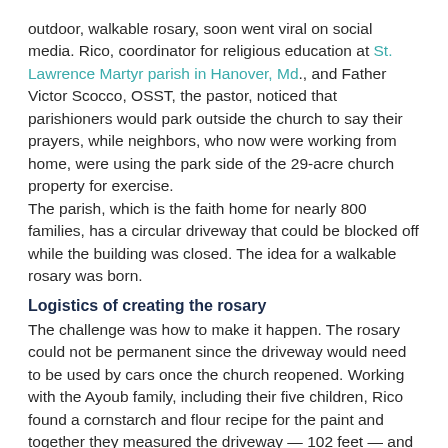outdoor, walkable rosary, soon went viral on social media. Rico, coordinator for religious education at St. Lawrence Martyr parish in Hanover, Md., and Father Victor Scocco, OSST, the pastor, noticed that parishioners would park outside the church to say their prayers, while neighbors, who now were working from home, were using the park side of the 29-acre church property for exercise. The parish, which is the faith home for nearly 800 families, has a circular driveway that could be blocked off while the building was closed. The idea for a walkable rosary was born.
Logistics of creating the rosary
The challenge was how to make it happen. The rosary could not be permanent since the driveway would need to be used by cars once the church reopened. Working with the Ayoub family, including their five children, Rico found a cornstarch and flour recipe for the paint and together they measured the driveway — 102 feet — and worked out the size of each bead.
On a cold and windy day, the team gathered for more than